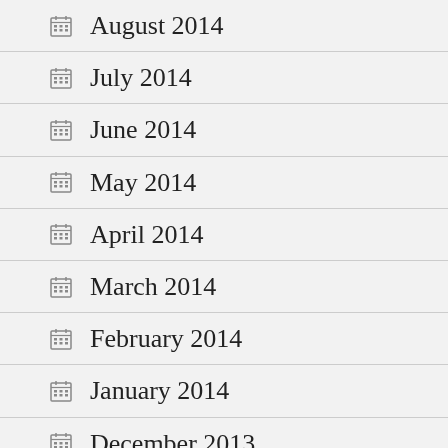August 2014
July 2014
June 2014
May 2014
April 2014
March 2014
February 2014
January 2014
December 2013